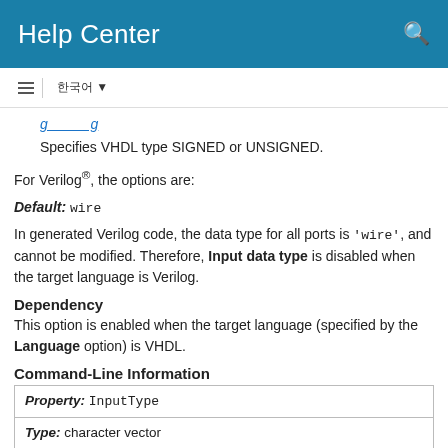Help Center
Specifies VHDL type SIGNED or UNSIGNED.
For Verilog®, the options are:
Default: wire
In generated Verilog code, the data type for all ports is 'wire', and cannot be modified. Therefore, Input data type is disabled when the target language is Verilog.
Dependency
This option is enabled when the target language (specified by the Language option) is VHDL.
Command-Line Information
| Property: InputType |
| Type: character vector |
| Value (for VHDL): data type string |